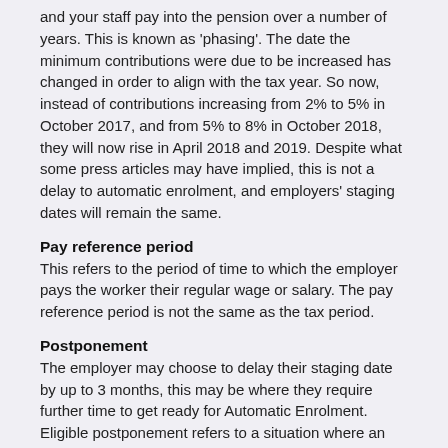and your staff pay into the pension over a number of years. This is known as 'phasing'. The date the minimum contributions were due to be increased has changed in order to align with the tax year. So now, instead of contributions increasing from 2% to 5% in October 2017, and from 5% to 8% in October 2018, they will now rise in April 2018 and 2019. Despite what some press articles may have implied, this is not a delay to automatic enrolment, and employers' staging dates will remain the same.
Pay reference period
This refers to the period of time to which the employer pays the worker their regular wage or salary. The pay reference period is not the same as the tax period.
Postponement
The employer may choose to delay their staging date by up to 3 months, this may be where they require further time to get ready for Automatic Enrolment. Eligible postponement refers to a situation where an employer may choose to postpone an eligible jobholder to avoid pro rata contributions or to manage an increase in earnings of a worker which could change their status from a temporary basis to an eligible jobholder.
Qualifying scheme
A pension scheme that meets certain minimum standards by law, there